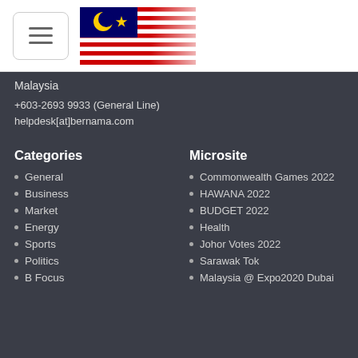[Figure (screenshot): Website header with hamburger menu button and Malaysian flag logo]
Malaysia
+603-2693 9933 (General Line)
helpdesk[at]bernama.com
Categories
General
Business
Market
Energy
Sports
Politics
B Focus
Microsite
Commonwealth Games 2022
HAWANA 2022
BUDGET 2022
Health
Johor Votes 2022
Sarawak Tok
Malaysia @ Expo2020 Dubai